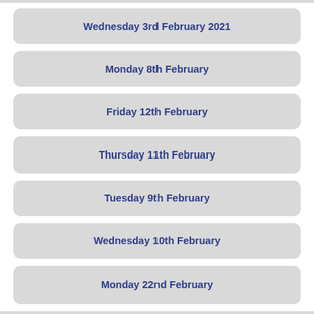Wednesday 3rd February 2021
Monday 8th February
Friday 12th February
Thursday 11th February
Tuesday 9th February
Wednesday 10th February
Monday 22nd February